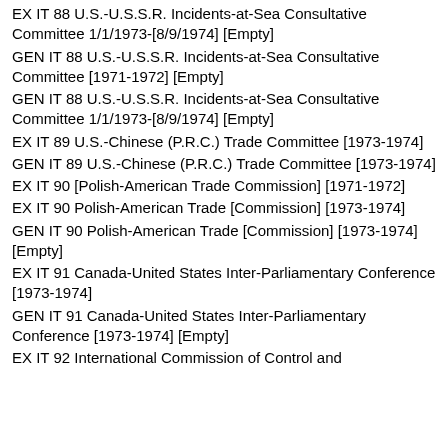EX IT 88 U.S.-U.S.S.R. Incidents-at-Sea Consultative Committee 1/1/1973-[8/9/1974] [Empty]
GEN IT 88 U.S.-U.S.S.R. Incidents-at-Sea Consultative Committee [1971-1972] [Empty]
GEN IT 88 U.S.-U.S.S.R. Incidents-at-Sea Consultative Committee 1/1/1973-[8/9/1974] [Empty]
EX IT 89 U.S.-Chinese (P.R.C.) Trade Committee [1973-1974]
GEN IT 89 U.S.-Chinese (P.R.C.) Trade Committee [1973-1974]
EX IT 90 [Polish-American Trade Commission] [1971-1972]
EX IT 90 Polish-American Trade [Commission] [1973-1974]
GEN IT 90 Polish-American Trade [Commission] [1973-1974] [Empty]
EX IT 91 Canada-United States Inter-Parliamentary Conference [1973-1974]
GEN IT 91 Canada-United States Inter-Parliamentary Conference [1973-1974] [Empty]
EX IT 92 International Commission of Control and